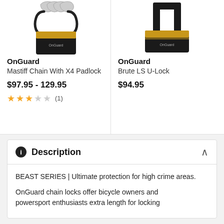[Figure (photo): OnGuard Mastiff Chain With X4 Padlock product image - black and gold chain lock]
OnGuard
Mastiff Chain With X4 Padlock
$97.95 - 129.95
[Figure (other): Star rating: 3 out of 5 stars, (1) review]
[Figure (photo): OnGuard Brute LS U-Lock product image - black and gold U-lock]
OnGuard
Brute LS U-Lock
$94.95
Description
BEAST SERIES | Ultimate protection for high crime areas.
OnGuard chain locks offer bicycle owners and powersport enthusiasts extra length for locking